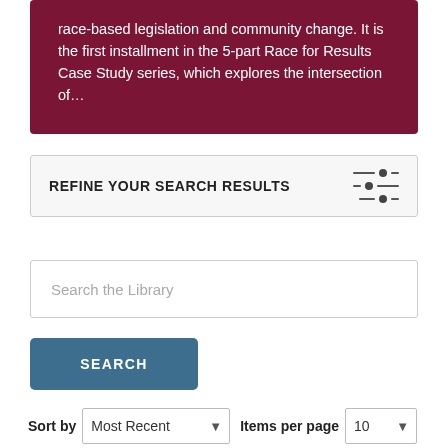race-based legislation and community change. It is the first installment in the 5-part Race for Results Case Study series, which explores the intersection of...
REFINE YOUR SEARCH RESULTS
Search the Library
SEARCH
Sort by  Most Recent   Items per page  10